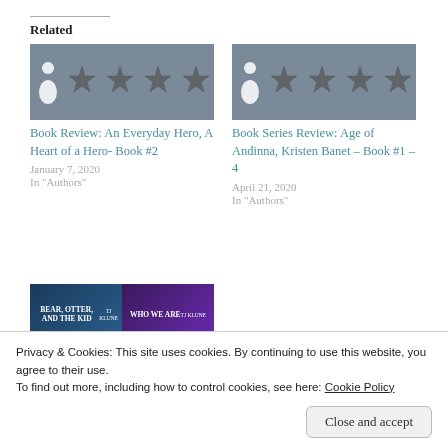Related
[Figure (illustration): Book review thumbnail with star rating icons on gray background for 'Book Review: An Everyday Hero, A Heart of a Hero- Book #2']
Book Review: An Everyday Hero, A Heart of a Hero- Book #2
January 7, 2020
In "Authors"
[Figure (illustration): Book series review thumbnail with star rating icons on gray background for 'Book Series Review: Age of Andinna, Kristen Banet – Book #1 – 4']
Book Series Review: Age of Andinna, Kristen Banet – Book #1 – 4
April 21, 2020
In "Authors"
[Figure (illustration): Book collage showing four TJ Klune books: Bear, Otter, and the Kid; Who We Are; The Art of Breathing; The Long and Winding Road]
Privacy & Cookies: This site uses cookies. By continuing to use this website, you agree to their use.
To find out more, including how to control cookies, see here: Cookie Policy